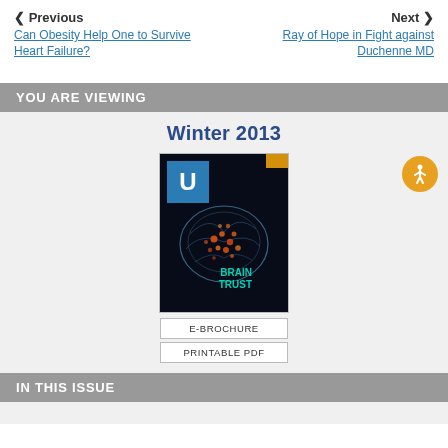< Previous | Next >
Can Obesity Help One to Survive Heart Failure?
Ray of Hope in Fight against Duchenne MD
YOU ARE VIEWING
Winter 2013
[Figure (photo): Magazine cover for Winter 2013 issue with a glowing brain illustration on dark background, 'U' badge logo top-left, orange accent top-right, teal text 'BRAIN TRUST' bottom-right]
E-BROCHURE
PRINTABLE PDF
IN THIS ISSUE